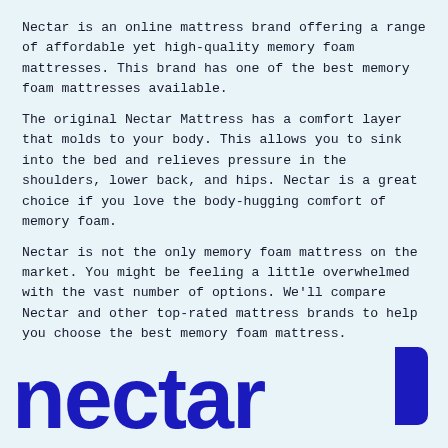Nectar is an online mattress brand offering a range of affordable yet high-quality memory foam mattresses. This brand has one of the best memory foam mattresses available.
The original Nectar Mattress has a comfort layer that molds to your body. This allows you to sink into the bed and relieves pressure in the shoulders, lower back, and hips. Nectar is a great choice if you love the body-hugging comfort of memory foam.
Nectar is not the only memory foam mattress on the market. You might be feeling a little overwhelmed with the vast number of options. We'll compare Nectar and other top-rated mattress brands to help you choose the best memory foam mattress.
[Figure (logo): Nectar brand logo: the word 'nectar' in bold dark blue lowercase letters with a dark blue rounded square icon to the right]